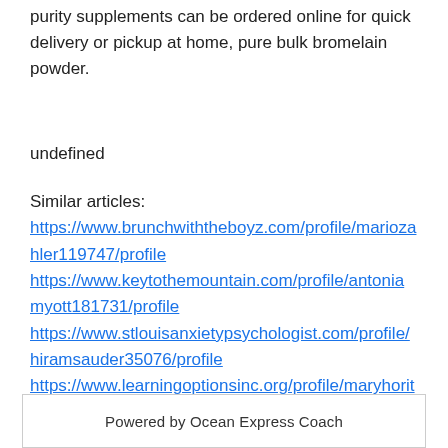purity supplements can be ordered online for quick delivery or pickup at home, pure bulk bromelain powder.
undefined
Similar articles:
https://www.brunchwiththeboyz.com/profile/mariozahler119747/profile
https://www.keytothemountain.com/profile/antoniamyott181731/profile
https://www.stlouisanxietypsychologist.com/profile/hiramsauder35076/profile
https://www.learningoptionsinc.org/profile/maryhorita17839/profile
Powered by Ocean Express Coach